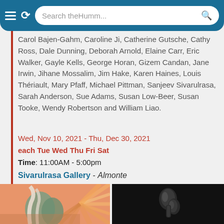Search theHumm...
Carol Bajen-Gahm, Caroline Ji, Catherine Gutsche, Cathy Ross, Dale Dunning, Deborah Arnold, Elaine Carr, Eric Walker, Gayle Kells, George Horan, Gizem Candan, Jane Irwin, Jihane Mossalim, Jim Hake, Karen Haines, Louis Thériault, Mary Pfaff, Michael Pittman, Sanjeev Sivarulrasa, Sarah Anderson, Sue Adams, Susan Low-Beer, Susan Tooke, Wendy Robertson and William Liao.
Wed, Nov 10, 2021 - Thu, Dec 30, 2021
each Tue Wed Thu Fri Sat
Time: 11:00AM - 5:00pm
Sivarulrasa Gallery - Almonte
[Figure (photo): Colorful abstract painting with warm orange/red radiating lines and figures in greens and browns]
[Figure (photo): Dark background photo of a smooth dark metal sculpture resembling intertwined organic forms]